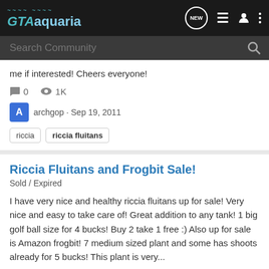GTAaquaria
me if interested! Cheers everyone!
0 comments · 1K views
archgop · Sep 19, 2011
riccia
riccia fluitans
Riccia Fluitans and Frogbit Sale!
Sold / Expired
I have very nice and healthy riccia fluitans up for sale! Very nice and easy to take care of! Great addition to any tank! 1 big golf ball size for 4 bucks! Buy 2 take 1 free :) Also up for sale is Amazon frogbit! 7 medium sized plant and some has shoots already for 5 bucks! This plant is very...
2 comments · 1K views